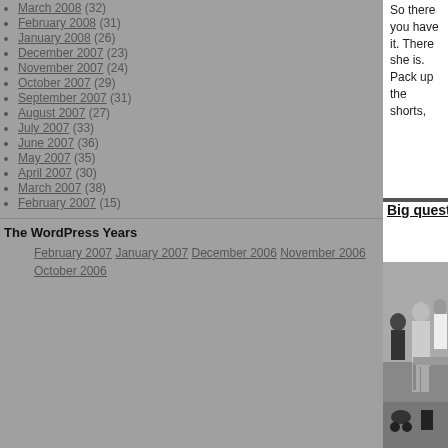March 2008 (32)
February 2008 (31)
January 2008 (26)
December 2007 (23)
November 2007 (24)
October 2007 (29)
September 2007 (31)
August 2007 (27)
July 2007 (33)
June 2007 (36)
May 2007 (35)
April 2007 (30)
March 2007 (38)
February 2007 (15)
The WordPress Years
February 2007 January 2007 December 2006 November 2006 October 2006
So there you have it. There she is. Pack up the shorts,
Big questions
[Figure (photo): Black and white photo of elderly people at an outdoor market or garden stall, with a pram/pushchair in the foreground]